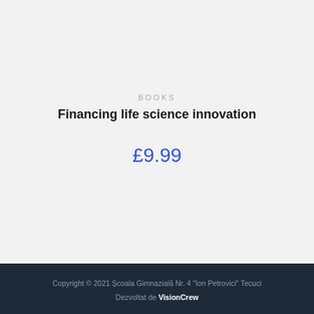[Figure (photo): Book cover image with blue-grey geometric abstract design]
BOOKS
Financing life science innovation
£9.99
Copyright © 2021 Școala Gimnazială Nr. 4 "Ion Petrovici" Tecuci Dezvoltat de VisionCrew